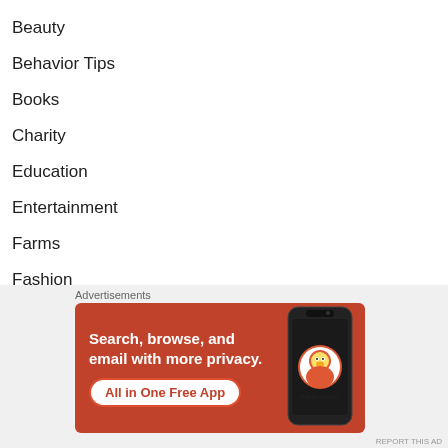Beauty
Behavior Tips
Books
Charity
Education
Entertainment
Farms
Fashion
Food & Nutrition
Guides
Health & Safety
Home
Advertisements
[Figure (infographic): DuckDuckGo advertisement banner with orange background. Text: 'Search, browse, and email with more privacy. All in One Free App'. Shows a smartphone with DuckDuckGo logo.]